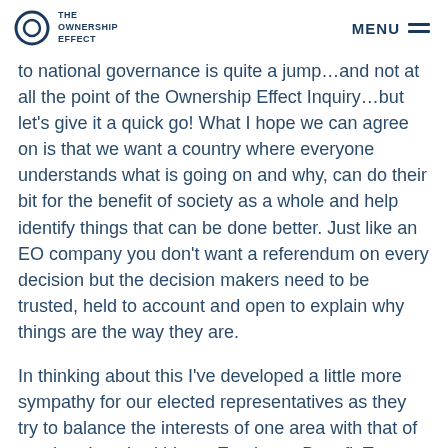THE OWNERSHIP EFFECT | MENU
to national governance is quite a jump…and not at all the point of the Ownership Effect Inquiry…but let's give it a quick go! What I hope we can agree on is that we want a country where everyone understands what is going on and why, can do their bit for the benefit of society as a whole and help identify things that can be done better. Just like an EO company you don't want a referendum on every decision but the decision makers need to be trusted, held to account and open to explain why things are the way they are.
In thinking about this I've developed a little more sympathy for our elected representatives as they try to balance the interests of one area with that of another. I work within an Employee Benefit Trust that has five different brands doing different, but related, things and something like 80 people